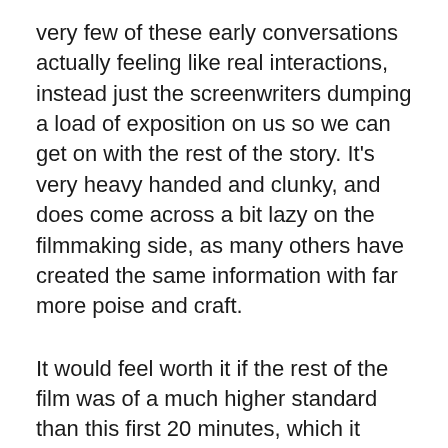very few of these early conversations actually feeling like real interactions, instead just the screenwriters dumping a load of exposition on us so we can get on with the rest of the story. It's very heavy handed and clunky, and does come across a bit lazy on the filmmaking side, as many others have created the same information with far more poise and craft.
It would feel worth it if the rest of the film was of a much higher standard than this first 20 minutes, which it does when it hits it's stride, but Chadha doesn't get the consistency needed to really elevate the film as a whole. The biggest issue lies in the originality, at its heart Blinded By The Light is a coming of age story about a teenage boy having trouble balancing what he wants to do with his life against the more traditionalist opinions of his father Malik (Kulvinder Ghir). Javed wants to